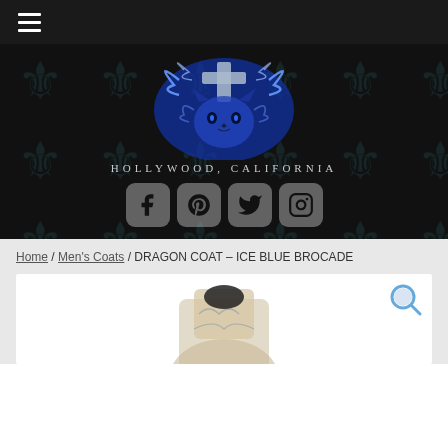Navigation menu (hamburger icon)
[Figure (logo): Blue ornate cat/fox face logo with decorative swirls and cross on dark background with fleur-de-lis pattern]
Hollywood, California
[Figure (infographic): Social media icons: Facebook, Pinterest, Twitter, Instagram]
Home / Men's Coats / DRAGON COAT – ICE BLUE BROCADE
[Figure (photo): Dragon Coat in Ice Blue Brocade product photo with magnify search icon]